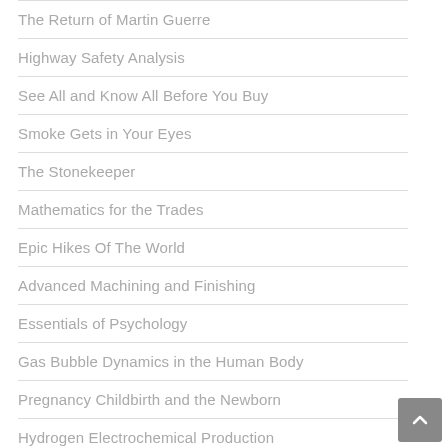The Return of Martin Guerre
Highway Safety Analysis
See All and Know All Before You Buy
Smoke Gets in Your Eyes
The Stonekeeper
Mathematics for the Trades
Epic Hikes Of The World
Advanced Machining and Finishing
Essentials of Psychology
Gas Bubble Dynamics in the Human Body
Pregnancy Childbirth and the Newborn
Hydrogen Electrochemical Production